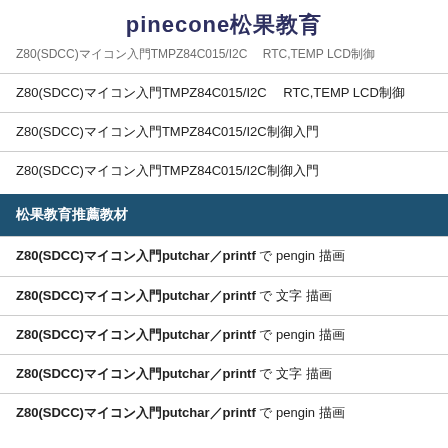pinecone松果教育
Z80(SDCC)マイコン入門TMPZ84C015/I2C　 RTC,TEMP LCD制御 (truncated top)
Z80(SDCC)マイコン入門TMPZ84C015/I2C　 RTC,TEMP LCD制御
Z80(SDCC)マイコン入門TMPZ84C015/I2C制御入門
Z80(SDCC)マイコン入門TMPZ84C015/I2C制御入門
松果教育推薦教材
Z80(SDCC)マイコン入門putchar／printf で pengin 描画
Z80(SDCC)マイコン入門putchar／printf で 文字 描画
Z80(SDCC)マイコン入門putchar／printf で pengin 描画
Z80(SDCC)マイコン入門putchar／printf で 文字 描画
Z80(SDCC)マイコン入門putchar／printf で pengin 描画 (partial)